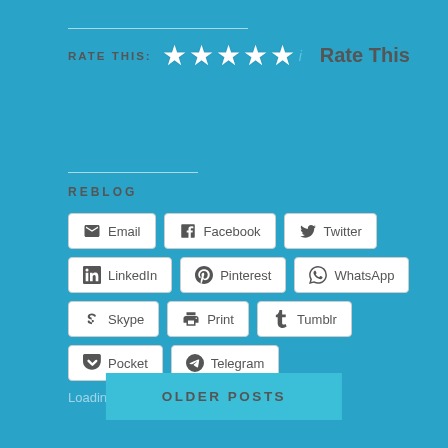RATE THIS: ★★★★★ Rate This
REBLOG
Email | Facebook | Twitter | LinkedIn | Pinterest | WhatsApp | Skype | Print | Tumblr | Pocket | Telegram
Loading...
OLDER POSTS